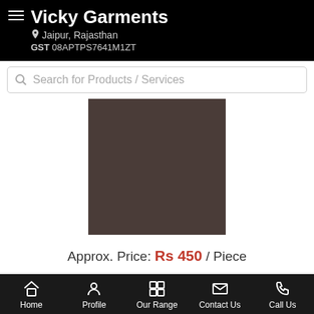Vicky Garments | Jaipur, Rajasthan | GST 08APTPS7641M1ZT
Search for Products / Services
[Figure (photo): Dark brownish-gray product image placeholder]
Approx. Price: Rs 450 / Piece
Product Details:
Minimum Order Quantity: 50 Piece
Color: ...more
Home | Profile | Our Range | Contact Us | Call Us